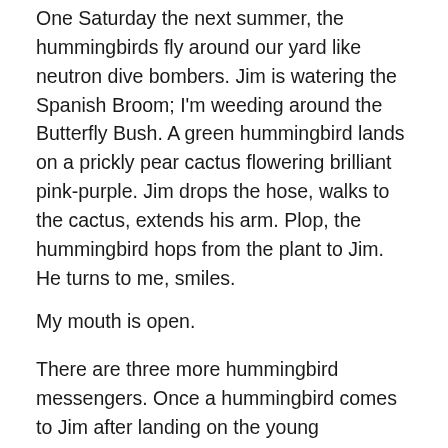One Saturday the next summer, the hummingbirds fly around our yard like neutron dive bombers. Jim is watering the Spanish Broom; I'm weeding around the Butterfly Bush. A green hummingbird lands on a prickly pear cactus flowering brilliant pink-purple. Jim drops the hose, walks to the cactus, extends his arm. Plop, the hummingbird hops from the plant to Jim. He turns to me, smiles.
My mouth is open.
There are three more hummingbird messengers. Once a hummingbird comes to Jim after landing on the young cottonwood we've planted. Another time the hummingbirds hover around a feeder in the lotus before one lands on Jim. The last time is this spring, ten years after the first instance. We are preparing to move.
Jim has this head in the morning of the '57 Chevy. A red...